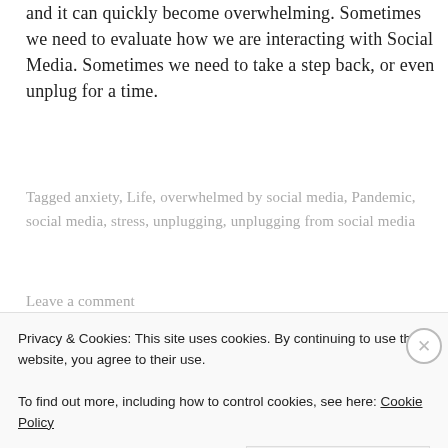and it can quickly become overwhelming. Sometimes we need to evaluate how we are interacting with Social Media. Sometimes we need to take a step back, or even unplug for a time.
Tagged anxiety, Life, overwhelmed by social media, Pandemic, social media, stress, unplugging, unplugging from social media
Leave a comment
[Figure (photo): Partial view of an image strip showing what appears to be an outdoor or nature scene, visible at the bottom of the page]
Privacy & Cookies: This site uses cookies. By continuing to use this website, you agree to their use.
To find out more, including how to control cookies, see here: Cookie Policy
Close and accept